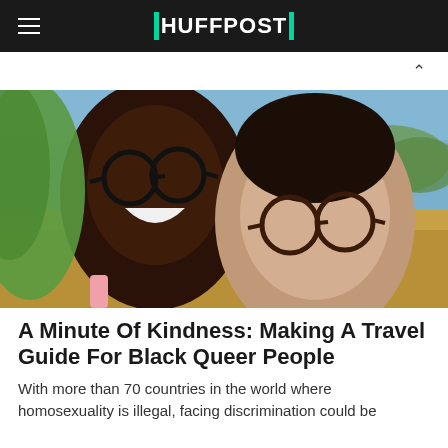HUFFPOST
[Figure (photo): Two Black women smiling and laughing together in an outdoor selfie. One woman on the left wears round black glasses and a pink top; the other on the right wears dark brown round glasses. Green foliage and a bright sky visible in the background, with a golden field behind them.]
A Minute Of Kindness: Making A Travel Guide For Black Queer People
With more than 70 countries in the world where homosexuality is illegal, facing discrimination could be